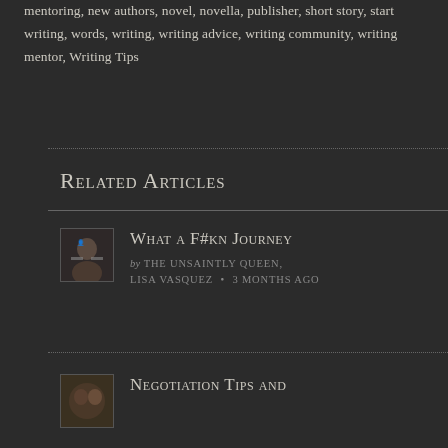mentoring, new authors, novel, novella, publisher, short story, start writing, words, writing, writing advice, writing community, writing mentor, Writing Tips
Related Articles
What a F#kn Journey
by THE UNSAINTLY QUEEN, LISA VASQUEZ • 3 MONTHS AGO
Negotiation Tips and